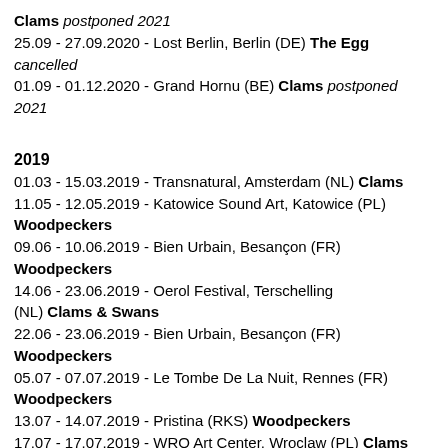Clams postponed 2021
25.09 - 27.09.2020 - Lost Berlin, Berlin (DE) The Egg cancelled
01.09 - 01.12.2020 - Grand Hornu (BE) Clams postponed 2021
2019
01.03 - 15.03.2019 - Transnatural, Amsterdam (NL) Clams
11.05 - 12.05.2019 - Katowice Sound Art, Katowice (PL) Woodpeckers
09.06 - 10.06.2019 - Bien Urbain, Besançon (FR) Woodpeckers
14.06 - 23.06.2019 - Oerol Festival, Terschelling (NL) Clams & Swans
22.06 - 23.06.2019 - Bien Urbain, Besançon (FR) Woodpeckers
05.07 - 07.07.2019 - Le Tombe De La Nuit, Rennes (FR) Woodpeckers
13.07 - 14.07.2019 - Pristina (RKS) Woodpeckers
17.07 - 17.07.2019 - WRO Art Center, Wroclaw (PL) Clams